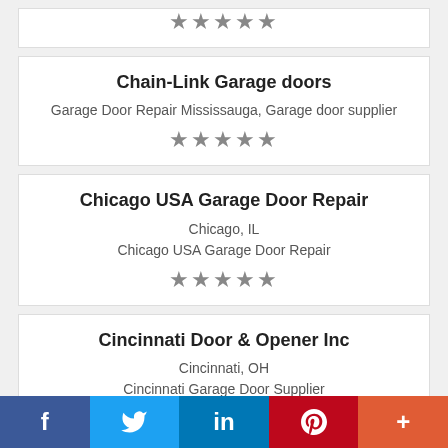[Figure (other): Star rating row (5 stars, grey) — top partial card]
Chain-Link Garage doors
Garage Door Repair Mississauga, Garage door supplier
[Figure (other): Star rating row (5 stars, grey)]
Chicago USA Garage Door Repair
Chicago, IL
Chicago USA Garage Door Repair
[Figure (other): Star rating row (5 stars, grey)]
Cincinnati Door & Opener Inc
Cincinnati, OH
Cincinnati Garage Door Supplier
f  Twitter  in  P  +